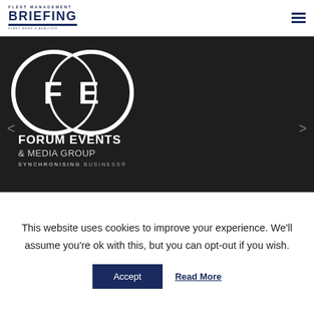Fleet Management Briefing — navigation header with hamburger menu
[Figure (logo): Forum Events & Media Group logo — two interlocking circles with F and E letters, text: FORUM EVENTS & MEDIA GROUP SYNCHRONISING BUSINESS]
With over 25 years combined experience, we bring companies together to synchronise into strong corporate partnerships. Our core values focus on delivering a premium service for our
This website uses cookies to improve your experience. We'll assume you're ok with this, but you can opt-out if you wish.
Accept   Read More